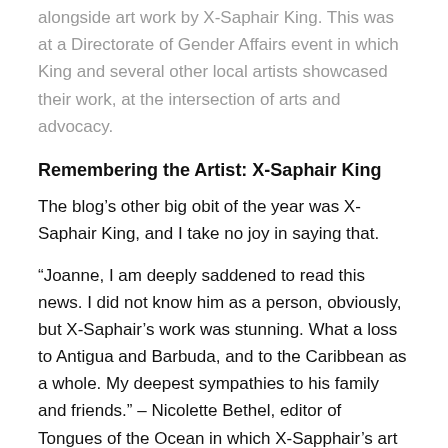alongside art work by X-Saphair King. This was at a Directorate of Gender Affairs event in which King and several other local artists showcased their work, at the intersection of arts and advocacy.
Remembering the Artist: X-Saphair King
The blog’s other big obit of the year was X-Saphair King, and I take no joy in saying that.
“Joanne, I am deeply saddened to read this news. I did not know him as a person, obviously, but X-Saphair’s work was stunning. What a loss to Antigua and Barbuda, and to the Caribbean as a whole. My deepest sympathies to his family and friends.” – Nicolette Bethel, editor of Tongues of the Ocean in which X-Sapphair’s art work had been featured, commenting below the post about his passing.